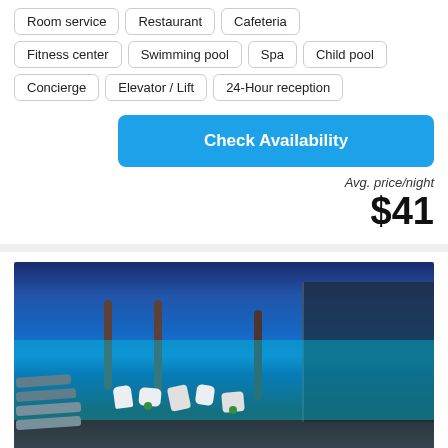Room service | Restaurant | Cafeteria
Fitness center | Swimming pool | Spa | Child pool
Concierge | Elevator / Lift | 24-Hour reception
Check Availability
Avg. price/night
$41
[Figure (photo): Night photo of a luxury hotel pool area with glowing blue water, white modern lounge chairs and furniture in the pool, tall palm trees lit against a deep blue night sky, and a modern glass building on the right side.]
Stardust Deluxe Pl...